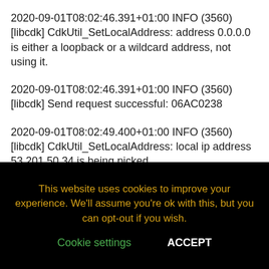2020-09-01T08:02:46.391+01:00 INFO (3560) [libcdk] CdkUtil_SetLocalAddress: address 0.0.0.0 is either a loopback or a wildcard address, not using it.
2020-09-01T08:02:46.391+01:00 INFO (3560) [libcdk] Send request successful: 06AC0238
2020-09-01T08:02:49.400+01:00 INFO (3560) [libcdk] CdkUtil_SetLocalAddress: local ip address 53.201.50.34 is being picked.
2020-09-01T08:02:49.488+01:00 INFO (3560) [libcdk] CdkRpc_HandleResponsesAsync: Handle Response with rpc call id: 1
This website uses cookies to improve your experience. We'll assume you're ok with this, but you can opt-out if you wish.
Cookie settings   ACCEPT